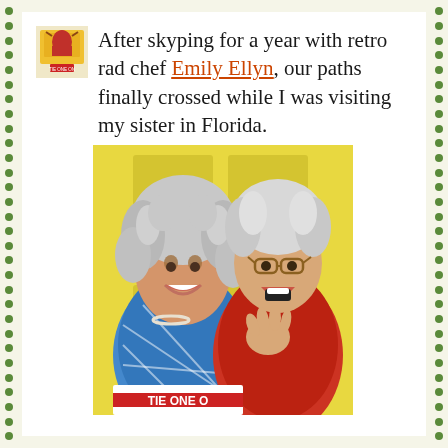After skyping for a year with retro rad chef Emily Ellyn, our paths finally crossed while I was visiting my sister in Florida.
[Figure (photo): Two women with silver/white curly hair smiling and posing together. The woman on the left wears a blue patterned top with pearls; the woman on the right wears a red sleeveless top with cat-eye glasses and has her mouth open in excitement. A yellow door is in the background. Text 'TIE ONE O' visible on apron at bottom.]